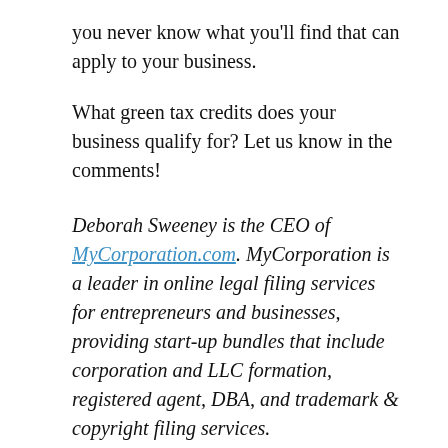you never know what you'll find that can apply to your business.
What green tax credits does your business qualify for? Let us know in the comments!
Deborah Sweeney is the CEO of MyCorporation.com. MyCorporation is a leader in online legal filing services for entrepreneurs and businesses, providing start-up bundles that include corporation and LLC formation, registered agent, DBA, and trademark & copyright filing services. MyCorporation does all the work, making the business formation and maintenance quick and painless, so business owners can focus on what they do best. Follow her on Google+ and on Twitter